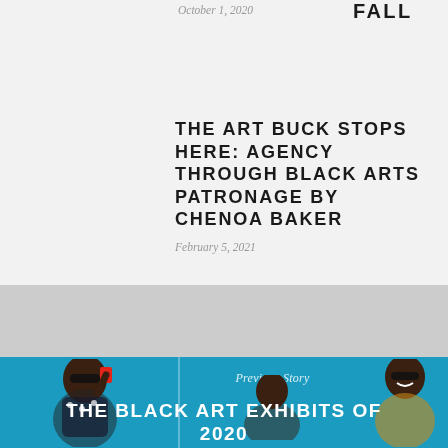FALL
October 1, 2020
THE ART BUCK STOPS HERE: AGENCY THROUGH BLACK ARTS PATRONAGE BY CHENOA BAKER
February 5, 2021
Previous Story
THE BLACK ART EXHIBITS OF 2020